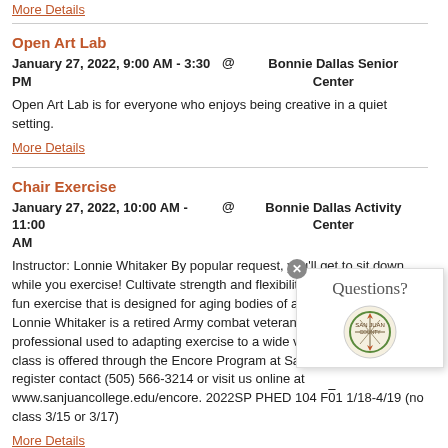More Details
Open Art Lab
January 27, 2022, 9:00 AM - 3:30 PM    @ Bonnie Dallas Senior Center
Open Art Lab is for everyone who enjoys being creative in a quiet setting.
More Details
Chair Exercise
January 27, 2022, 10:00 AM - 11:00 AM    @ Bonnie Dallas Activity Center
Instructor: Lonnie Whitaker By popular request, you'll get to sit down while you exercise! Cultivate strength and flexibility in order to engage in fun exercise that is designed for aging bodies of all levels and abilities. Lonnie Whitaker is a retired Army combat veteran and a fitness professional used to adapting exercise to a wide variety of bodies. This class is offered through the Encore Program at San Juan College. To register contact (505) 566-3214 or visit us online at www.sanjuancollege.edu/encore. 2022SP PHED 104 F01 1/18-4/19 (no class 3/15 or 3/17)
More Details
Design and Basic Bench Skills in Art Jewelry Making
January 27, 2022, 12:30 PM - 3:34 PM    @ Bonnie Dallas Senior Center
Have you ever admired a piece of jewelry and tried to figure out just how it was made? Begin a love affair with metal and jewelry making as